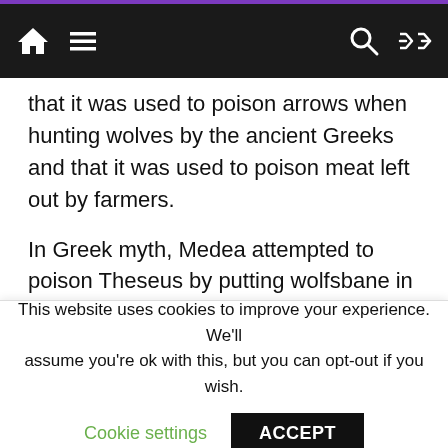Navigation bar with home, menu, search, and shuffle icons
that it was used to poison arrows when hunting wolves by the ancient Greeks and that it was used to poison meat left out by farmers.
In Greek myth, Medea attempted to poison Theseus by putting wolfsbane in his wine.
Growing Wolfsbane
Wolfsbane germinates in response to snowmelt, so it can be somewhat difficult for the backyard gardener to get it going. You could try planting it in
This website uses cookies to improve your experience. We'll assume you're ok with this, but you can opt-out if you wish.
Cookie settings   ACCEPT